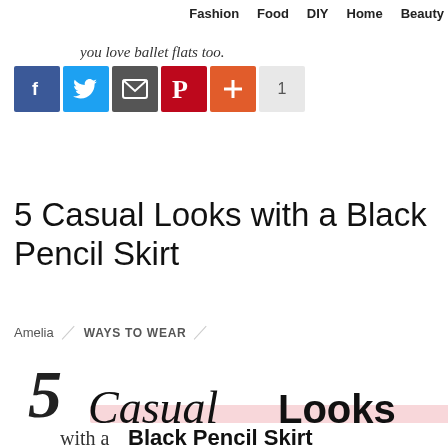Fashion   Food   DIY   Home   Beauty
you love ballet flats too.
[Figure (infographic): Social sharing icons row: Facebook (blue), Twitter (light blue), Email (dark gray), Pinterest (red), Plus/Add (orange), count badge showing 1]
5 Casual Looks with a Black Pencil Skirt
Amelia / WAYS TO WEAR /
[Figure (illustration): Decorative hand-lettered title reading '5 Casual Looks with a Black Pencil Skirt' in mixed script and print fonts, with a light pink highlight band under the word 'Casual']